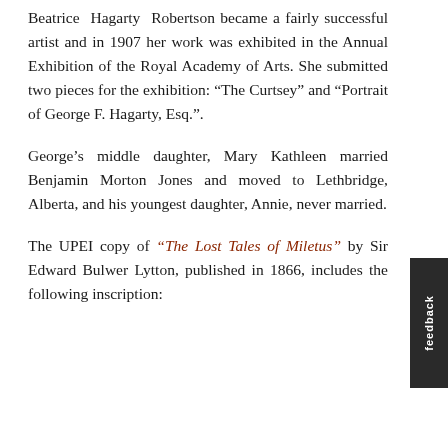Beatrice Hagarty Robertson became a fairly successful artist and in 1907 her work was exhibited in the Annual Exhibition of the Royal Academy of Arts. She submitted two pieces for the exhibition: “The Curtsey” and “Portrait of George F. Hagarty, Esq.”.
George’s middle daughter, Mary Kathleen married Benjamin Morton Jones and moved to Lethbridge, Alberta, and his youngest daughter, Annie, never married.
The UPEI copy of “The Lost Tales of Miletus” by Sir Edward Bulwer Lytton, published in 1866, includes the following inscription: